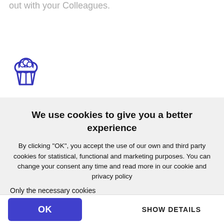out with your Colleagues.
[Figure (illustration): Muffin/cupcake icon in blue outline style]
We use cookies to give you a better experience
By clicking "OK", you accept the use of our own and third party cookies for statistical, functional and marketing purposes. You can change your consent any time and read more in our cookie and privacy policy
Only the necessary cookies
OK
SHOW DETAILS